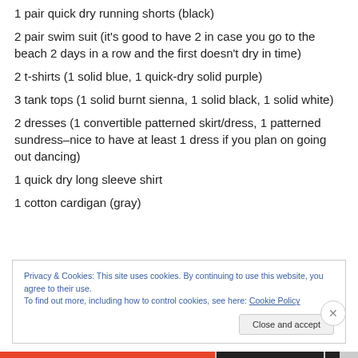1 pair quick dry running shorts (black)
2 pair swim suit (it's good to have 2 in case you go to the beach 2 days in a row and the first doesn't dry in time)
2 t-shirts (1 solid blue, 1 quick-dry solid purple)
3 tank tops (1 solid burnt sienna, 1 solid black, 1 solid white)
2 dresses (1 convertible patterned skirt/dress, 1 patterned sundress–nice to have at least 1 dress if you plan on going out dancing)
1 quick dry long sleeve shirt
1 cotton cardigan (gray)
Privacy & Cookies: This site uses cookies. By continuing to use this website, you agree to their use.
To find out more, including how to control cookies, see here: Cookie Policy